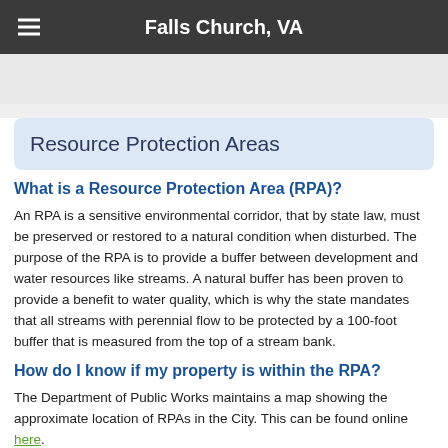Falls Church, VA
Resource Protection Areas
What is a Resource Protection Area (RPA)?
An RPA is a sensitive environmental corridor, that by state law, must be preserved or restored to a natural condition when disturbed. The purpose of the RPA is to provide a buffer between development and water resources like streams. A natural buffer has been proven to provide a benefit to water quality, which is why the state mandates that all streams with perennial flow to be protected by a 100-foot buffer that is measured from the top of a stream bank.
How do I know if my property is within the RPA?
The Department of Public Works maintains a map showing the approximate location of RPAs in the City. This can be found online here.